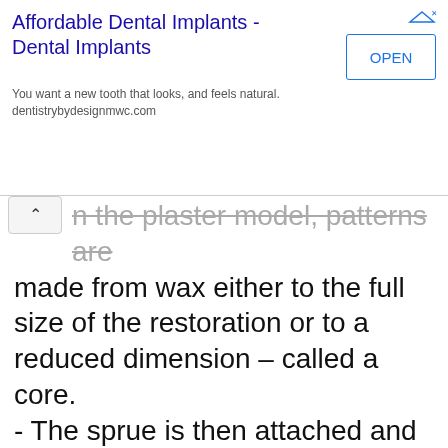[Figure (screenshot): Advertisement banner for Affordable Dental Implants with OPEN button and website dentistrybydesignmwc.com]
In the plaster model, patterns are made from wax either to the full size of the restoration or to a reduced dimension – called a core.
- The sprue is then attached and the wax pattern is invested in refractory material.
- The wax is eliminated from the mold, after which the ceramic is heated at a high temperature and injected/infused into the obtained mold.